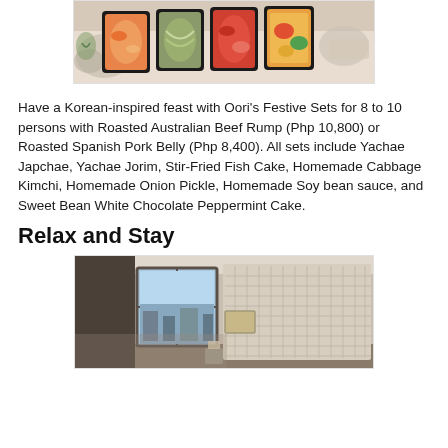[Figure (photo): Photo of Korean food trays/bento boxes with various dishes arranged in black containers on a table.]
Have a Korean-inspired feast with Oori's Festive Sets for 8 to 10 persons with Roasted Australian Beef Rump (Php 10,800) or Roasted Spanish Pork Belly (Php 8,400). All sets include Yachae Japchae, Yachae Jorim, Stir-Fried Fish Cake, Homemade Cabbage Kimchi, Homemade Onion Pickle, Homemade Soy bean sauce, and Sweet Bean White Chocolate Peppermint Cake.
Relax and Stay
[Figure (photo): Photo of a hotel room interior with a window, bed, and decorative wall panel.]